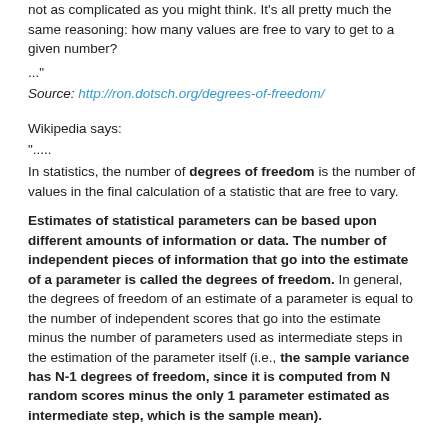not as complicated as you might think. It's all pretty much the same reasoning: how many values are free to vary to get to a given number?
..."
Source: http://ron.dotsch.org/degrees-of-freedom/
Wikipedia says:
".....
In statistics, the number of degrees of freedom is the number of values in the final calculation of a statistic that are free to vary.
Estimates of statistical parameters can be based upon different amounts of information or data. The number of independent pieces of information that go into the estimate of a parameter is called the degrees of freedom. In general, the degrees of freedom of an estimate of a parameter is equal to the number of independent scores that go into the estimate minus the number of parameters used as intermediate steps in the estimation of the parameter itself (i.e., the sample variance has N-1 degrees of freedom, since it is computed from N random scores minus the only 1 parameter estimated as intermediate step, which is the sample mean).